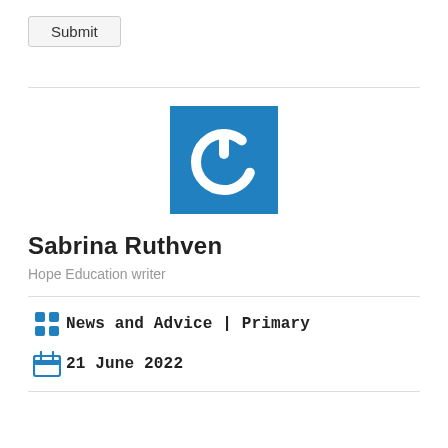Submit
[Figure (logo): Blue square logo with white power button icon]
Sabrina Ruthven
Hope Education writer
News and Advice | Primary
21 June 2022